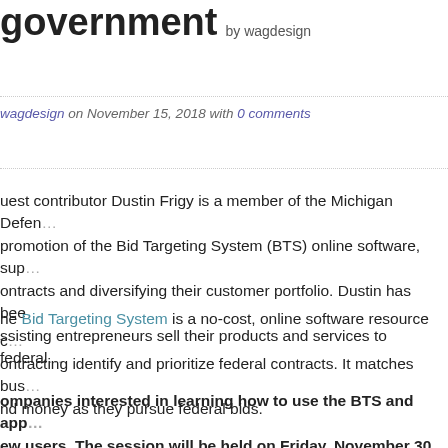government  by wagdesign
wagdesign on November 15, 2018 with 0 comments
Guest contributor Dustin Frigy is a member of the Michigan Defen... promotion of the Bid Targeting System (BTS) online software, sup... contracts and diversifying their customer portfolio. Dustin has bee... ssisting entrepreneurs sell their products and services to federal...
The Bid Targeting System is a no-cost, online software resource c... ntracting identify and prioritize federal contracts. It matches bus... nd money as they pursue federal bids.
Companies interested in learning how to use the BTS and app... ew users. The session will be held on Friday, November 30 f... info@bidtarget.org